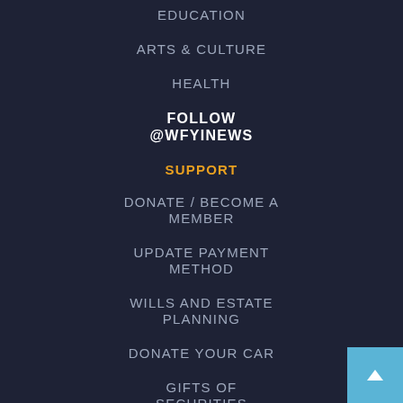EDUCATION
ARTS & CULTURE
HEALTH
FOLLOW @WFYINEWS
SUPPORT
DONATE / BECOME A MEMBER
UPDATE PAYMENT METHOD
WILLS AND ESTATE PLANNING
DONATE YOUR CAR
GIFTS OF SECURITIES